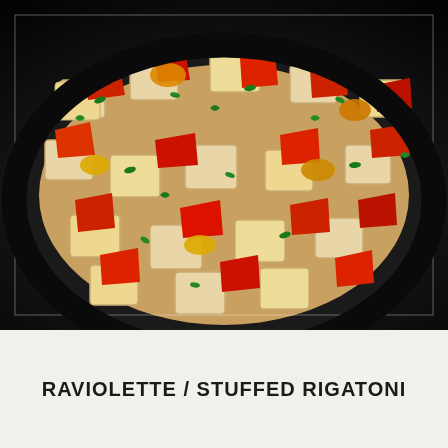[Figure (photo): Close-up photograph of raviolette (small square ravioli) with stuffed rigatoni pasta, topped with chopped red bell peppers, yellow/orange peppers, and fresh green herbs (parsley), served on a dark black plate.]
RAVIOLETTE / STUFFED RIGATONI